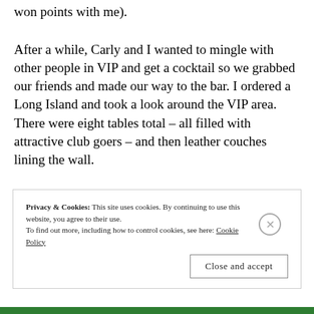won points with me).
After a while, Carly and I wanted to mingle with other people in VIP and get a cocktail so we grabbed our friends and made our way to the bar. I ordered a Long Island and took a look around the VIP area. There were eight tables total – all filled with attractive club goers – and then leather couches lining the wall.
Privacy & Cookies: This site uses cookies. By continuing to use this website, you agree to their use. To find out more, including how to control cookies, see here: Cookie Policy
Close and accept